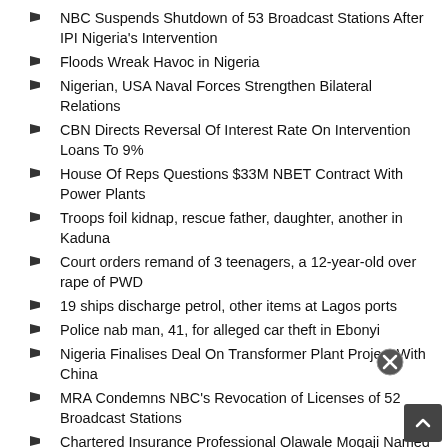NBC Suspends Shutdown of 53 Broadcast Stations After IPI Nigeria's Intervention
Floods Wreak Havoc in Nigeria
Nigerian, USA Naval Forces Strengthen Bilateral Relations
CBN Directs Reversal Of Interest Rate On Intervention Loans To 9%
House Of Reps Questions $33M NBET Contract With Power Plants
Troops foil kidnap, rescue father, daughter, another in Kaduna
Court orders remand of 3 teenagers, a 12-year-old over rape of PWD
19 ships discharge petrol, other items at Lagos ports
Police nab man, 41, for alleged car theft in Ebonyi
Nigeria Finalises Deal On Transformer Plant Project With China
MRA Condemns NBC's Revocation of Licenses of 52 Broadcast Stations
Chartered Insurance Professional Olawale Mogaji Named Head Of Iposu Family
Nigeria Energy Leads Dialogue On W/Africa's Evolving Energy Industry